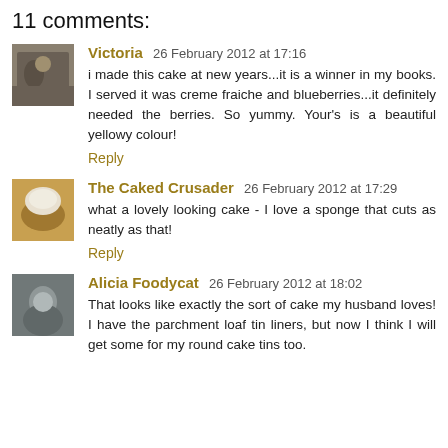11 comments:
Victoria 26 February 2012 at 17:16
i made this cake at new years...it is a winner in my books. I served it was creme fraiche and blueberries...it definitely needed the berries. So yummy. Your's is a beautiful yellowy colour!
Reply
The Caked Crusader 26 February 2012 at 17:29
what a lovely looking cake - I love a sponge that cuts as neatly as that!
Reply
Alicia Foodycat 26 February 2012 at 18:02
That looks like exactly the sort of cake my husband loves! I have the parchment loaf tin liners, but now I think I will get some for my round cake tins too.